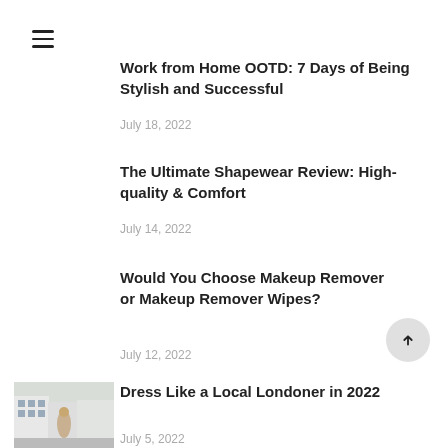[Figure (other): Hamburger menu icon (three horizontal lines)]
Work from Home OOTD: 7 Days of Being Stylish and Successful
July 18, 2022
The Ultimate Shapewear Review: High-quality & Comfort
July 14, 2022
Would You Choose Makeup Remover or Makeup Remover Wipes?
July 12, 2022
[Figure (photo): Woman standing in front of a white building with pillars, London street scene]
Dress Like a Local Londoner in 2022
July 5, 2022